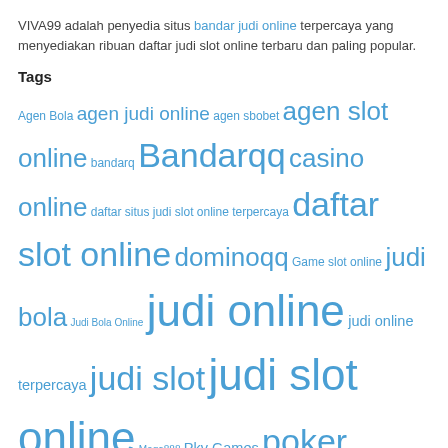VIVA99 adalah penyedia situs bandar judi online terpercaya yang menyediakan ribuan daftar judi slot online terbaru dan paling popular.
Tags
Agen Bola agen judi online agen sbobet agen slot online bandarq Bandarqq casino online daftar situs judi slot online terpercaya daftar slot online dominoqq Game slot online judi bola Judi Bola Online judi online judi online terpercaya judi slot judi slot online Mega888 Pkv Games poker online QQ Online RajaQQ sbobet situs judi bola situs judi online situs judi online terpercaya situs judi slot Situs Judi Slot Online situs judi slot online terpercaya situs poker online situs slot situs slot gacor situs slot online situs slot online terbaik slot slot88 Slot deposit pulsa Slot Gacor slot gacor hari ini slot online Slot Online Indonesia Slot Online